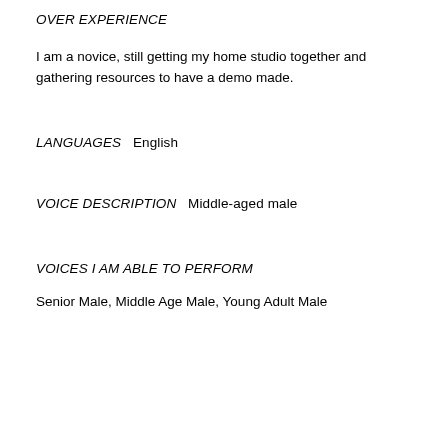OVER EXPERIENCE
I am a novice, still getting my home studio together and gathering resources to have a demo made.
LANGUAGES   English
VOICE DESCRIPTION   Middle-aged male
VOICES I AM ABLE TO PERFORM
Senior Male, Middle Age Male, Young Adult Male